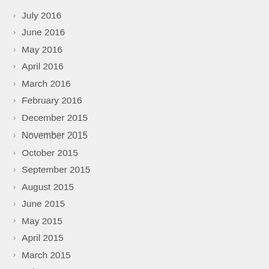July 2016
June 2016
May 2016
April 2016
March 2016
February 2016
December 2015
November 2015
October 2015
September 2015
August 2015
June 2015
May 2015
April 2015
March 2015
February 2015